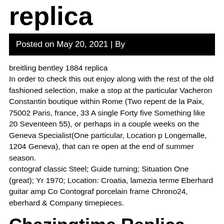replica
Posted on May 20, 2021 | By
breitling bentley 1884 replica
In order to check this out enjoy along with the rest of the old fashioned selection, make a stop at the particular Vacheron Constantin boutique within Rome (Two repent de la Paix, 75002 Paris, france, 33 A single Forty five Something like 20 Seventeen 55), or perhaps in a couple weeks on the Geneva Specialist(One particular, Location p Longemalle, 1204 Geneva), that can re open at the end of summer season.
contograf classic Steel; Guide turning; Situation One (great); Yr 1970; Location: Croatia, lamezia terme Eberhard guitar amp Co Contograf porcelain frame Chrono24, eberhard & Company timepieces.
Chazingtime Replica Watches